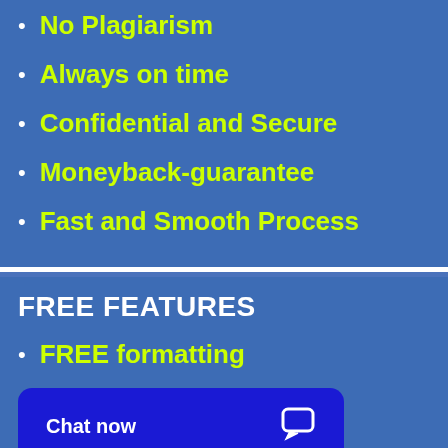No Plagiarism
Always on time
Confidential and Secure
Moneyback-guarantee
Fast and Smooth Process
FREE FEATURES
FREE formatting
Chat now